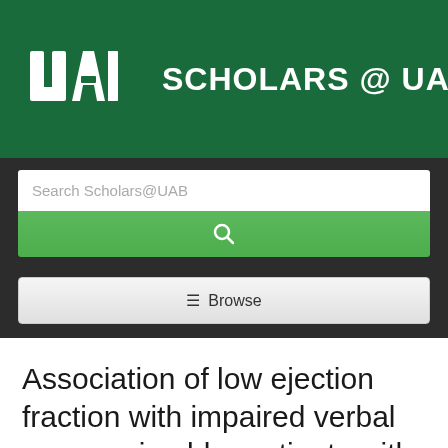[Figure (logo): UAB Scholars @ UAB logo on dark green background header]
[Figure (screenshot): Search bar with placeholder text 'Search Scholars@UAB' and green search button below]
[Figure (screenshot): Browse button with hamburger menu icon]
Association of low ejection fraction with impaired verbal memory in older patients with heart failure